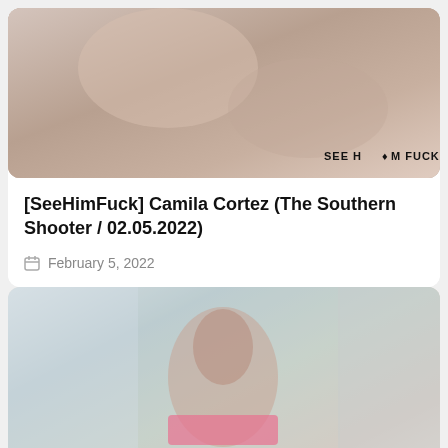[Figure (photo): Thumbnail image from SeeHimFuck website with watermark text 'SEE HIM FUCK' in bottom right corner]
[SeeHimFuck] Camila Cortez (The Southern Shooter / 02.05.2022)
February 5, 2022
[Figure (photo): Photo of a young woman with long black hair wearing a pink top, smiling in a kitchen setting]